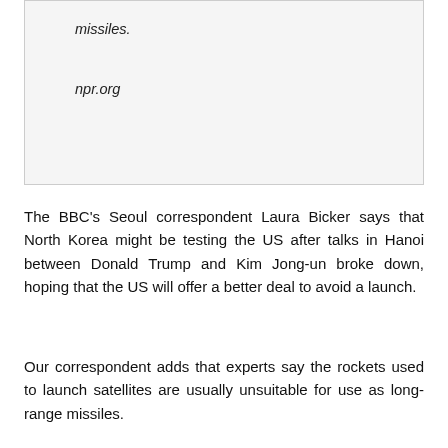missiles.
npr.org
The BBC's Seoul correspondent Laura Bicker says that North Korea might be testing the US after talks in Hanoi between Donald Trump and Kim Jong-un broke down, hoping that the US will offer a better deal to avoid a launch.
Our correspondent adds that experts say the rockets used to launch satellites are usually unsuitable for use as long-range missiles.